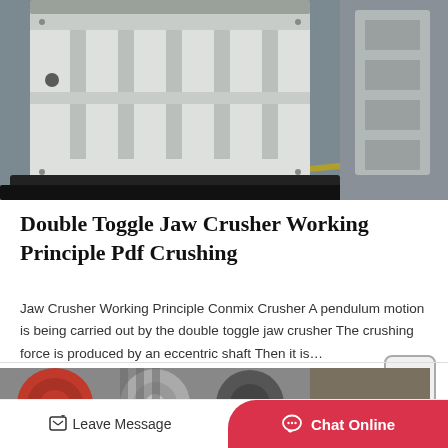[Figure (photo): Photo of a white double toggle jaw crusher frame/housing sitting on a factory floor with grey metal background]
Double Toggle Jaw Crusher Working Principle Pdf Crushing
Jaw Crusher Working Principle Conmix Crusher A pendulum motion is being carried out by the double toggle jaw crusher The crushing force is produced by an eccentric shaft Then it is…
Read More
[Figure (photo): Partial photo of industrial crushing/rolling machinery at the bottom of the page]
Leave Message   Chat Online